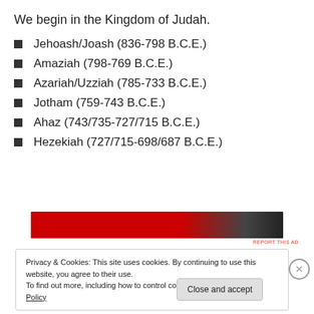We begin in the Kingdom of Judah.
Jehoash/Joash (836-798 B.C.E.)
Amaziah (798-769 B.C.E.)
Azariah/Uzziah (785-733 B.C.E.)
Jotham (759-743 B.C.E.)
Ahaz (743/735-727/715 B.C.E.)
Hezekiah (727/715-698/687 B.C.E.)
[Figure (other): Red advertisement banner]
REPORT THIS AD
Privacy & Cookies: This site uses cookies. By continuing to use this website, you agree to their use.
To find out more, including how to control cookies, see here: Cookie Policy
Close and accept